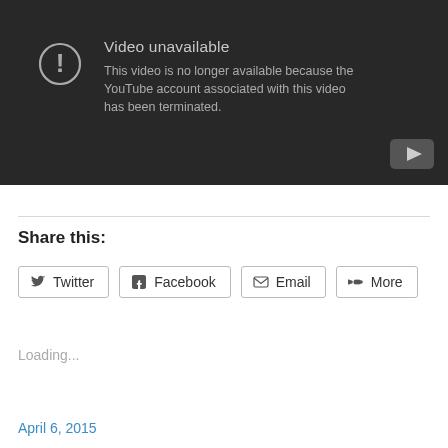[Figure (screenshot): YouTube video unavailable error screen with dark background, exclamation mark icon, title 'Video unavailable', message 'This video is no longer available because the YouTube account associated with this video has been terminated.' and YouTube logo button in bottom right.]
Share this:
Twitter Facebook Email More
Loading...
April 6, 2015